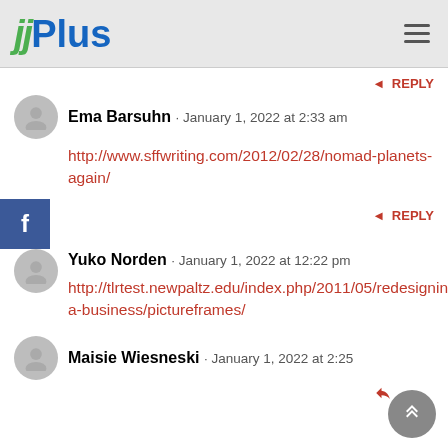jjPlus
REPLY
Ema Barsuhn · January 1, 2022 at 2:33 am
http://www.sffwriting.com/2012/02/28/nomad-planets-again/
REPLY
Yuko Norden · January 1, 2022 at 12:22 pm
http://tlrtest.newpaltz.edu/index.php/2011/05/redesigning-a-business/pictureframes/
Maisie Wiesneski · January 1, 2022 at 2:25 pm